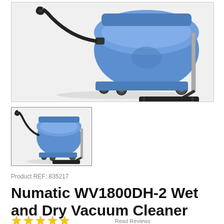[Figure (photo): Large main product image of Numatic WV1800DH-2 blue wet and dry vacuum cleaner with hose and floor tool attachment, shown in a white/grey background box]
[Figure (photo): Thumbnail image of Numatic WV1800DH-2 blue wet and dry vacuum cleaner, smaller version of the main image]
Product REF: 835217
Numatic WV1800DH-2 Wet and Dry Vacuum Cleaner
★★★★★  Read Reviews